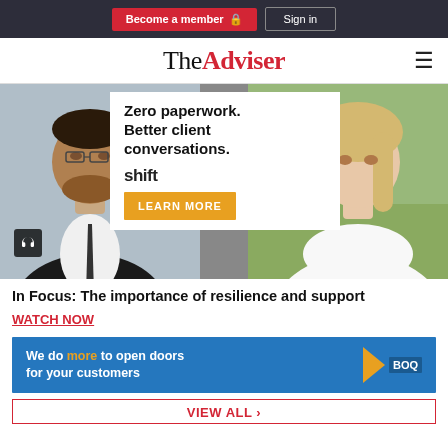Become a member | Sign in
The Adviser
[Figure (photo): Advertisement banner: man in suit on left, woman on right, white overlay panel reading 'Zero paperwork. Better client conversations. shift LEARN MORE']
In Focus: The importance of resilience and support
WATCH NOW
[Figure (infographic): BOQ advertisement banner: blue background with text 'We do more to open doors for your customers' and BOQ logo with orange arrow]
VIEW ALL